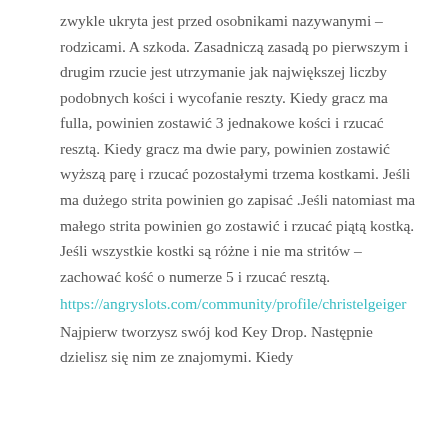zwykle ukryta jest przed osobnikami nazywanymi – rodzicami. A szkoda. Zasadniczą zasadą po pierwszym i drugim rzucie jest utrzymanie jak największej liczby podobnych kości i wycofanie reszty. Kiedy gracz ma fulla, powinien zostawić 3 jednakowe kości i rzucać resztą. Kiedy gracz ma dwie pary, powinien zostawić wyższą parę i rzucać pozostałymi trzema kostkami. Jeśli ma dużego strita powinien go zapisać .Jeśli natomiast ma małego strita powinien go zostawić i rzucać piątą kostką. Jeśli wszystkie kostki są różne i nie ma stritów – zachować kość o numerze 5 i rzucać resztą.
https://angryslots.com/community/profile/christelgeiger
Najpierw tworzysz swój kod Key Drop. Następnie dzielisz się nim ze znajomymi. Kiedy k...